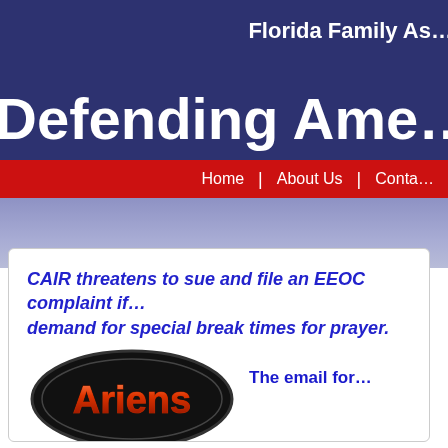Florida Family As...
Defending Ame...
[Figure (screenshot): Website header with dark navy blue background showing partial organization name 'Florida Family As...' and large bold text 'Defending Ame...' in white]
Home | About Us | Conta...
CAIR threatens to sue and file an EEOC complaint if... demand for special break times for prayer.
[Figure (logo): Ariens company logo - red/orange metallic text on black oval background]
The email for...